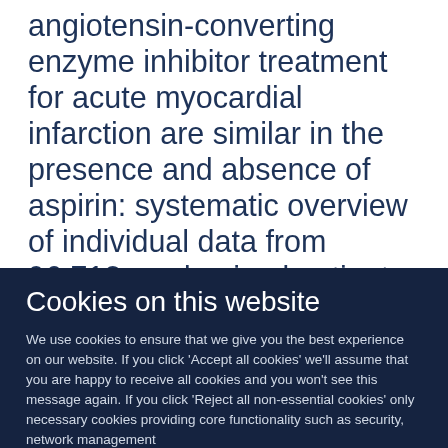angiotensin-converting enzyme inhibitor treatment for acute myocardial infarction are similar in the presence and absence of aspirin: systematic overview of individual data from 96,712 randomized patients. Angiotensin-converting Enzyme Inhibitor Myocardial Infarction
Cookies on this website
We use cookies to ensure that we give you the best experience on our website. If you click 'Accept all cookies' we'll assume that you are happy to receive all cookies and you won't see this message again. If you click 'Reject all non-essential cookies' only necessary cookies providing core functionality such as security, network management